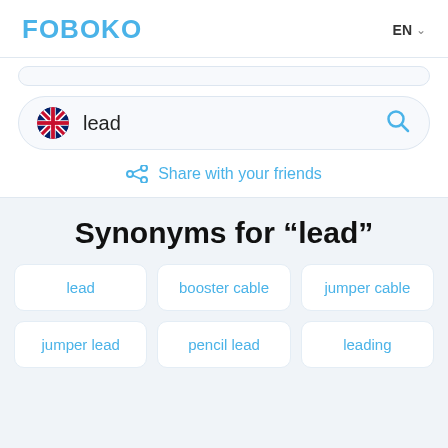FOBOKO
EN
[Figure (screenshot): Search bar with UK flag icon, text 'lead', and blue search icon]
Share with your friends
Synonyms for "lead"
lead
booster cable
jumper cable
jumper lead
pencil lead
leading